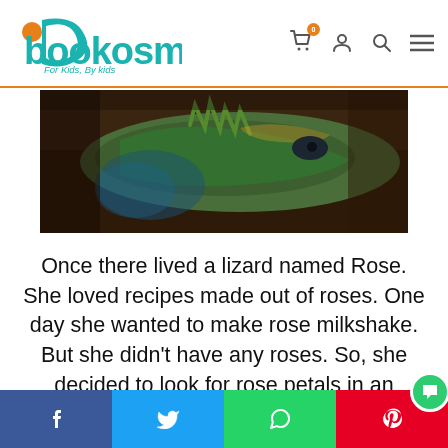Bookosmia — For Kids, By kids
[Figure (photo): Close-up photo of a green and brown lizard on dark background]
Once there lived a lizard named Rose. She loved recipes made out of roses. One day she wanted to make rose milkshake. But she didn't have any roses. So, she decided to look for rose petals in an
Facebook | Twitter | WhatsApp | Pinterest social share bar